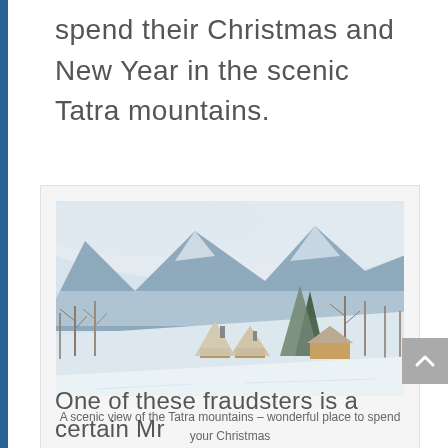spend their Christmas and New Year in the scenic Tatra mountains.
[Figure (photo): A scenic winter view of the Tatra mountains with snow-covered houses, bare trees, and misty mountain peaks in the background.]
A scenic view of the Tatra mountains – wonderful place to spend your Christmas
One of these fraudsters is a certain Mr